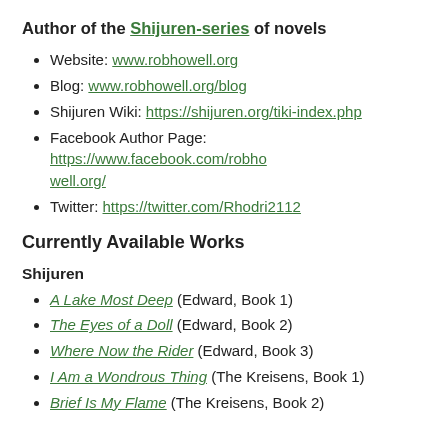Author of the Shijuren-series of novels
Website: www.robhowell.org
Blog: www.robhowell.org/blog
Shijuren Wiki: https://shijuren.org/tiki-index.php
Facebook Author Page: https://www.facebook.com/robhowell.org/
Twitter: https://twitter.com/Rhodri2112
Currently Available Works
Shijuren
A Lake Most Deep (Edward, Book 1)
The Eyes of a Doll (Edward, Book 2)
Where Now the Rider (Edward, Book 3)
I Am a Wondrous Thing (The Kreisens, Book 1)
Brief Is My Flame (The Kreisens, Book 2)